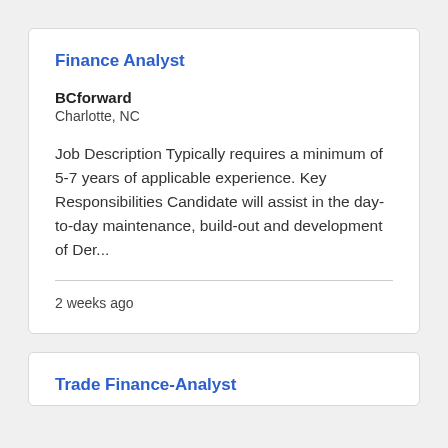Finance Analyst
BCforward
Charlotte, NC
Job Description Typically requires a minimum of 5-7 years of applicable experience. Key Responsibilities Candidate will assist in the day-to-day maintenance, build-out and development of Der...
2 weeks ago
Trade Finance-Analyst